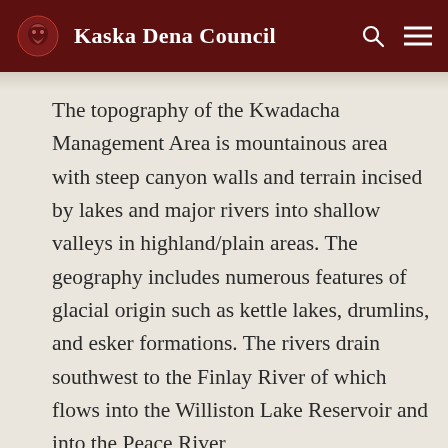Kaska Dena Council
The topography of the Kwadacha Management Area is mountainous area with steep canyon walls and terrain incised by lakes and major rivers into shallow valleys in highland/plain areas. The geography includes numerous features of glacial origin such as kettle lakes, drumlins, and esker formations. The rivers drain southwest to the Finlay River of which flows into the Williston Lake Reservoir and into the Peace River